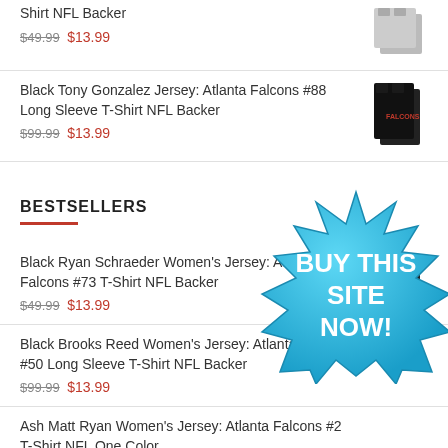Shirt NFL Backer $49.99 $13.99
Black Tony Gonzalez Jersey: Atlanta Falcons #88 Long Sleeve T-Shirt NFL Backer $99.99 $13.99
BESTSELLERS
Black Ryan Schraeder Women's Jersey: Atlanta Falcons #73 T-Shirt NFL Backer $49.99 $13.99
Black Brooks Reed Women's Jersey: Atlanta Falcons #50 Long Sleeve T-Shirt NFL Backer $99.99 $13.99
Ash Matt Ryan Women's Jersey: Atlanta Falcons #2 T-Shirt NFL One Color $49.99 $13.99
Ash Takkarist McKinley Jersey: Atlanta Falcons